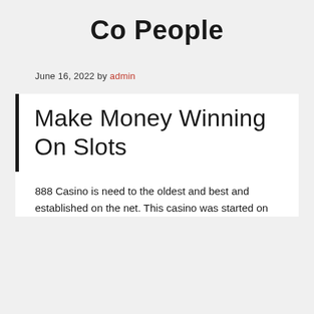Co People
June 16, 2022 by admin
Make Money Winning On Slots
888 Casino is need to the oldest and best and established on the net. This casino was started on